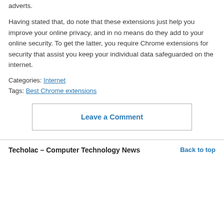adverts.
Having stated that, do note that these extensions just help you improve your online privacy, and in no means do they add to your online security. To get the latter, you require Chrome extensions for security that assist you keep your individual data safeguarded on the internet.
Categories: Internet
Tags: Best Chrome extensions
Leave a Comment
Techolac – Computer Technology News    Back to top